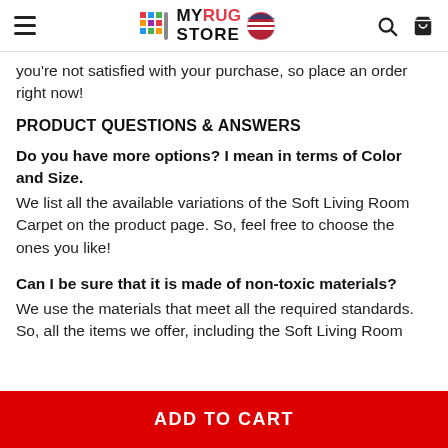MYRUG STORE
you're not satisfied with your purchase, so place an order right now!
PRODUCT QUESTIONS & ANSWERS
Do you have more options? I mean in terms of Color and Size.
We list all the available variations of the Soft Living Room Carpet on the product page. So, feel free to choose the ones you like!
Can I be sure that it is made of non-toxic materials?
We use the materials that meet all the required standards. So, all the items we offer, including the Soft Living Room
ADD TO CART